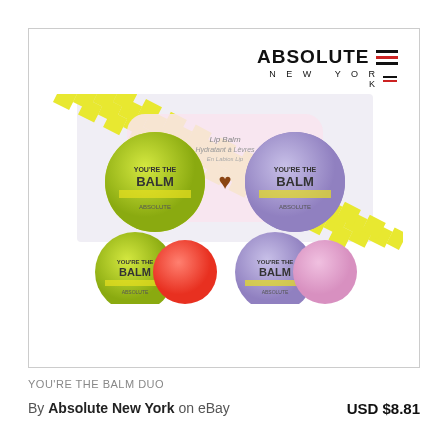[Figure (photo): Product photo of Absolute New York You're The Balm Duo lip balm set, showing two round green and purple tins in packaging, plus two open tins showing coral and pink lip balm colors]
[Figure (logo): Absolute New York logo with bold text and colored bars]
YOU'RE THE BALM DUO
By Absolute New York  on eBay
USD $8.81